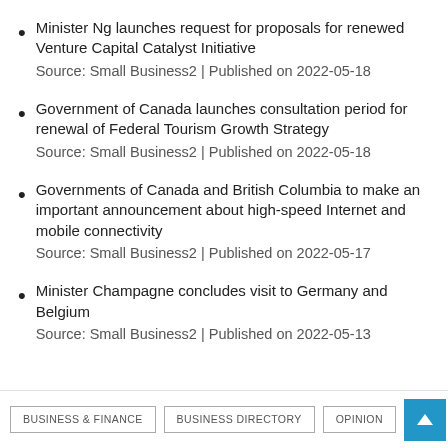Minister Ng launches request for proposals for renewed Venture Capital Catalyst Initiative
Source: Small Business2 | Published on 2022-05-18
Government of Canada launches consultation period for renewal of Federal Tourism Growth Strategy
Source: Small Business2 | Published on 2022-05-18
Governments of Canada and British Columbia to make an important announcement about high-speed Internet and mobile connectivity
Source: Small Business2 | Published on 2022-05-17
Minister Champagne concludes visit to Germany and Belgium
Source: Small Business2 | Published on 2022-05-13
BUSINESS & FINANCE | BUSINESS DIRECTORY | OPINION